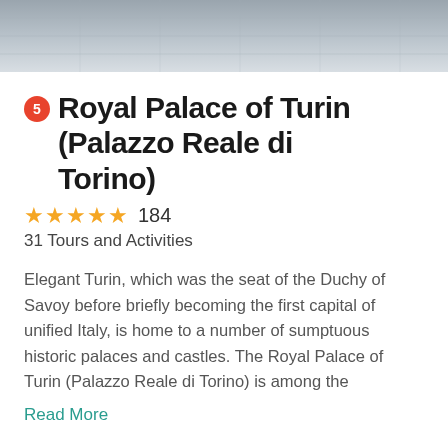[Figure (photo): Aerial or ground-level photograph of a stone-paved plaza or courtyard, shown at the top of the page as a header image.]
Royal Palace of Turin (Palazzo Reale di Torino)
★★★★★ 184
31 Tours and Activities
Elegant Turin, which was the seat of the Duchy of Savoy before briefly becoming the first capital of unified Italy, is home to a number of sumptuous historic palaces and castles. The Royal Palace of Turin (Palazzo Reale di Torino) is among the
Read More